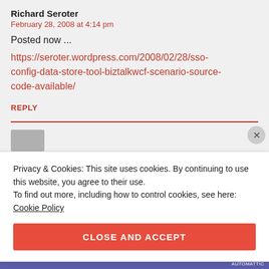Richard Seroter
February 28, 2008 at 4:14 pm
Posted now ...
https://seroter.wordpress.com/2008/02/28/sso-config-data-store-tool-biztalkwcf-scenario-source-code-available/
REPLY
Privacy & Cookies: This site uses cookies. By continuing to use this website, you agree to their use.
To find out more, including how to control cookies, see here: Cookie Policy
CLOSE AND ACCEPT